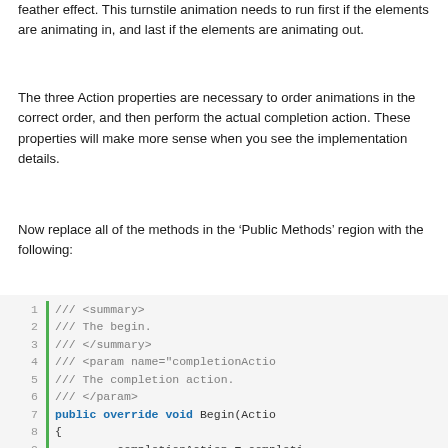feather effect. This turnstile animation needs to run first if the elements are animating in, and last if the elements are animating out.
The three Action properties are necessary to order animations in the correct order, and then perform the actual completion action. These properties will make more sense when you see the implementation details.
Now replace all of the methods in the ‘Public Methods’ region with the following:
[Figure (screenshot): Code block showing C# method with line numbers 1-13, green vertical bar, showing XML doc comments and public override void Begin(Action...) method with completionAction and RunCompletionAnimationFi...]